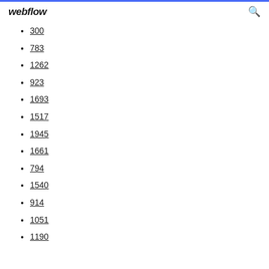webflow
300
783
1262
923
1693
1517
1945
1661
794
1540
914
1051
1190